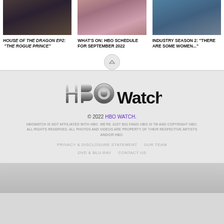[Figure (photo): Three thumbnail images of TV shows in a horizontal row: dark moody scene, colorful crowd scene, woman with headset]
HOUSE OF THE DRAGON EP2: "THE ROGUE PRINCE"
WHAT'S ON: HBO SCHEDULE FOR SEPTEMBER 2022
INDUSTRY SEASON 2: "THERE ARE SOME WOMEN..."
[Figure (logo): HBO Watch logo with metallic HBO letters and bold Watch text]
© 2022 HBO WATCH.
HBOWATCH IS NOT AFFILIATED WITH HBO. WE'RE JUST BIG FANS! HBO IS TM AND COPYRIGHT HBO. ALL RIGHTS RESERVED. ALL PHOTOS AND VIDEOS ARE PROPERTY OF THEIR RESPECTIVE ARTISTS AND/OR HBO.
PRIVACY & DISCLOSURE STATEMENT    OUR TEAM    DVD & BLU-RAY    CONTACT US